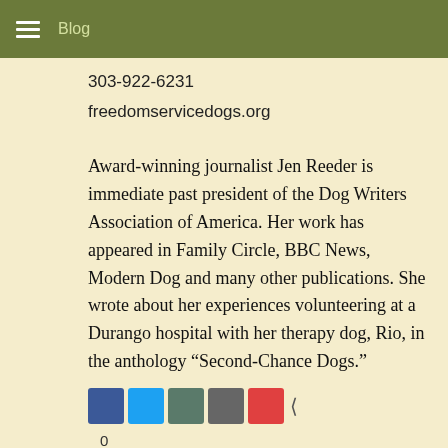Blog
303-922-6231
freedomservicedogs.org
Award-winning journalist Jen Reeder is immediate past president of the Dog Writers Association of America. Her work has appeared in Family Circle, BBC News, Modern Dog and many other publications. She wrote about her experiences volunteering at a Durango hospital with her therapy dog, Rio, in the anthology “Second-Chance Dogs.”
[Figure (infographic): Social share buttons: Facebook (blue), Twitter (light blue), Google+ (dark green), LinkedIn (grey), Pinterest (red-orange), and a 'more' indicator]
0